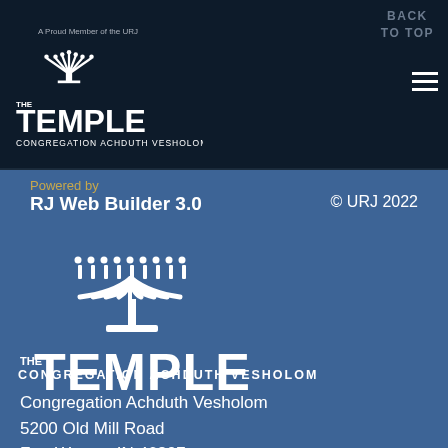BACK TO TOP
[Figure (logo): The Temple Congregation Achduth Vesholom logo with menorah, small header version]
Powered by
RJ Web Builder 3.0
© URJ 2022
[Figure (logo): The Temple Congregation Achduth Vesholom large logo with menorah on blue background]
Congregation Achduth Vesholom
5200 Old Mill Road
Fort Wayne, IN 46807